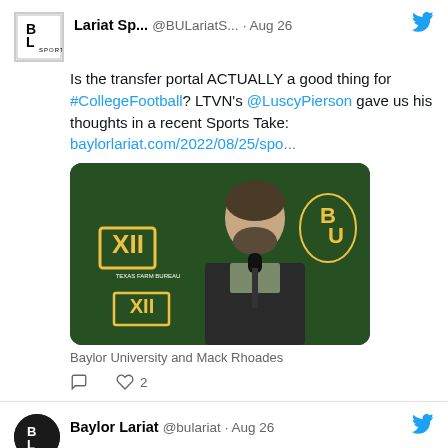Lariat Sp... @BULariatS... · Aug 26
Is the transfer portal ACTUALLY a good thing for #CollegeFootball? LTVN's @LuscyPierson gave us his thoughts in a recent Sports Take: baylorlariat.com/2022/08/25/spo...
[Figure (photo): Man at podium in front of green Baylor University backdrop with Big XII and Baylor logos]
Baylor University and Mack Rhoades
Baylor Lariat @bulariat · Aug 26
'The Rehearsal' review: Nathan Fielder gets weirder in new HBO series